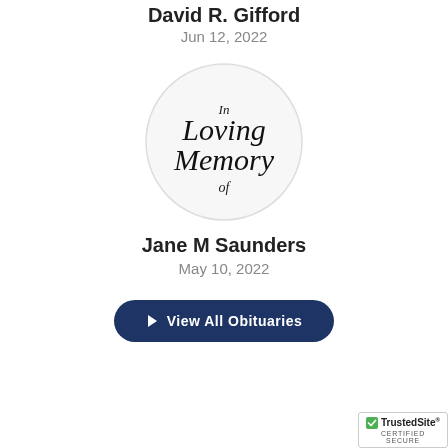David R. Gifford
Jun 12, 2022
[Figure (illustration): Circular emblem with decorative script text reading 'In Loving Memory of' on a white background with light gray border]
Jane M Saunders
May 10, 2022
View All Obituaries
[Figure (logo): TrustedSite Certified Secure badge with green checkmark]